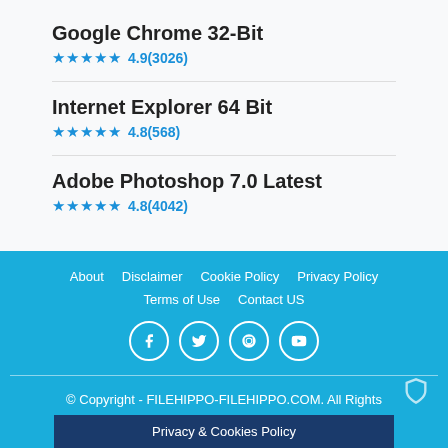Google Chrome 32-Bit
★★★★★ 4.9(3026)
Internet Explorer 64 Bit
★★★★★ 4.8(568)
Adobe Photoshop 7.0 Latest
★★★★★ 4.8(4042)
About   Disclaimer   Cookie Policy   Privacy Policy
Terms of Use   Contact US
[Facebook] [Twitter] [Pinterest] [YouTube]
© Copyright - FILEHIPPO-FILEHIPPO.COM. All Rights
Privacy & Cookies Policy